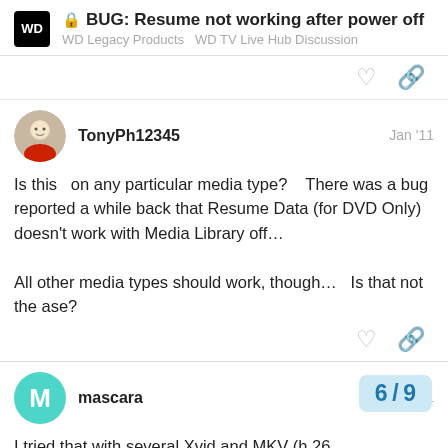🔒 BUG: Resume not working after power off
WD Legacy Products  WD TV Live Hub Discussion
TonyPh12345 — Jan '11
Is this  on any particular media type?   There was a bug reported a while back that Resume Data (for DVD Only) doesn't work with Media Library off...

All other media types should work, though…  Is that not the ase?
mascara — Jan '11
I tried that with several Xvid and MKV (h.26
6 / 9